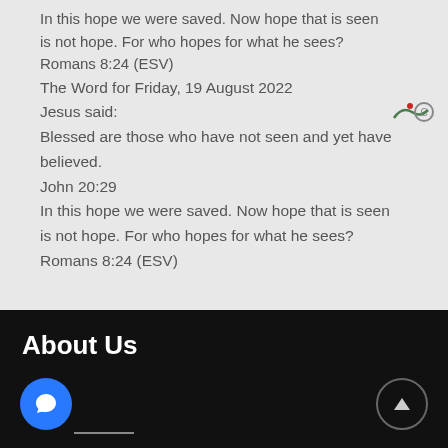In this hope we were saved. Now hope that is seen is not hope. For who hopes for what he sees? Romans 8:24 (ESV)
The Word for Friday, 19 August 2022
Jesus said:
Blessed are those who have not seen and yet have believed.
John 20:29
In this hope we were saved. Now hope that is seen is not hope. For who hopes for what he sees?
Romans 8:24 (ESV)
About Us